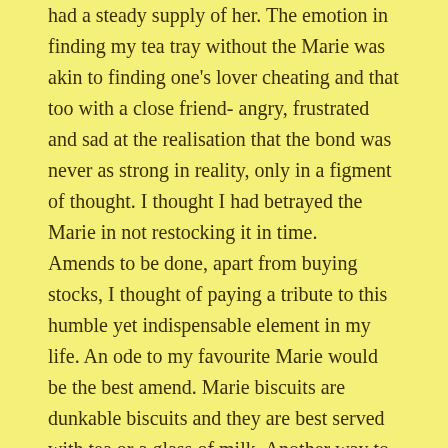had a steady supply of her. The emotion in finding my tea tray without the Marie was akin to finding one's lover cheating and that too with a close friend- angry, frustrated and sad at the realisation that the bond was never as strong in reality, only in a figment of thought. I thought I had betrayed the Marie in not restocking it in time.
Amends to be done, apart from buying stocks, I thought of paying a tribute to this humble yet indispensable element in my life. An ode to my favourite Marie would be the best amend. Marie biscuits are dunkable biscuits and they are best served with tea or a glass of milk. Another way to enjoy these biscuits is by making a sandwich out of two biscuits with either marmalade or butter spread in between- a